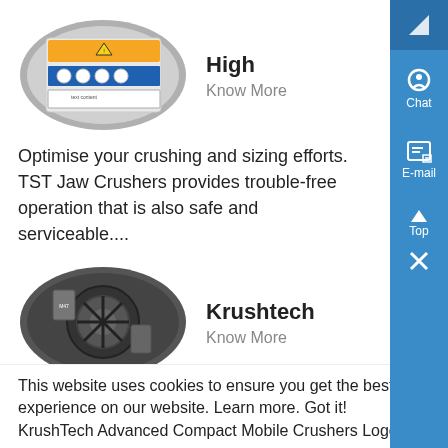[Figure (photo): Oval-framed photo of industrial safety warning labels on a machine surface with yellow warning triangle and blue circular instruction symbols]
High
Know More
Optimise your crushing and sizing efforts. TST Jaw Crushers provides trouble-free operation that is also safe and serviceable....
[Figure (photo): Oval-framed photo of a heavy industrial crusher machine component, dark metal machinery close-up]
Krushtech
Know More
This website uses cookies to ensure you get the best experience on our website. Learn more. Got it! KrushTech Advanced Compact Mobile Crushers Logo